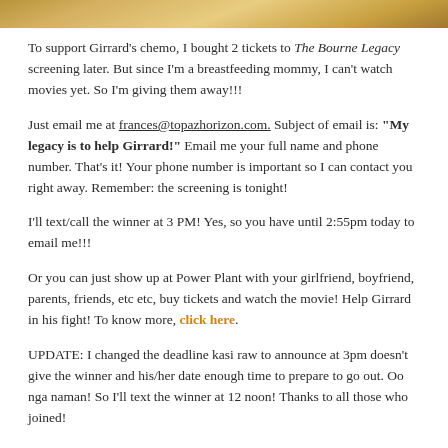[Figure (photo): Partial photo strip at top of page showing warm golden/brown tones]
To support Girrard's chemo, I bought 2 tickets to The Bourne Legacy screening later. But since I'm a breastfeeding mommy, I can't watch movies yet. So I'm giving them away!!!
Just email me at frances@topazhorizon.com. Subject of email is: "My legacy is to help Girrard!" Email me your full name and phone number. That's it! Your phone number is important so I can contact you right away. Remember: the screening is tonight!
I'll text/call the winner at 3 PM! Yes, so you have until 2:55pm today to email me!!!
Or you can just show up at Power Plant with your girlfriend, boyfriend, parents, friends, etc etc, buy tickets and watch the movie! Help Girrard in his fight! To know more, click here.
UPDATE: I changed the deadline kasi raw to announce at 3pm doesn't give the winner and his/her date enough time to prepare to go out. Oo nga naman! So I'll text the winner at 12 noon! Thanks to all those who joined!